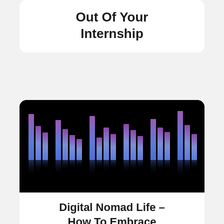Out Of Your Internship
[Figure (illustration): Audio equalizer visualization with vertical bars in blue and purple gradient on black background, with reflection below]
Digital Nomad Life – How To Embrace The Digital Lifestyle Without Terrorizing